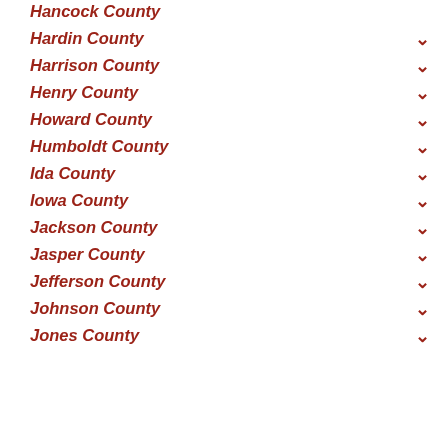Hancock County
Hardin County
Harrison County
Henry County
Howard County
Humboldt County
Ida County
Iowa County
Jackson County
Jasper County
Jefferson County
Johnson County
Jones County